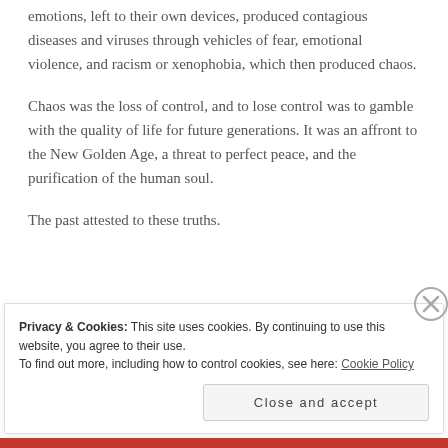emotions, left to their own devices, produced contagious diseases and viruses through vehicles of fear, emotional violence, and racism or xenophobia, which then produced chaos.
Chaos was the loss of control, and to lose control was to gamble with the quality of life for future generations. It was an affront to the New Golden Age, a threat to perfect peace, and the purification of the human soul.
The past attested to these truths.
Privacy & Cookies: This site uses cookies. By continuing to use this website, you agree to their use.
To find out more, including how to control cookies, see here: Cookie Policy